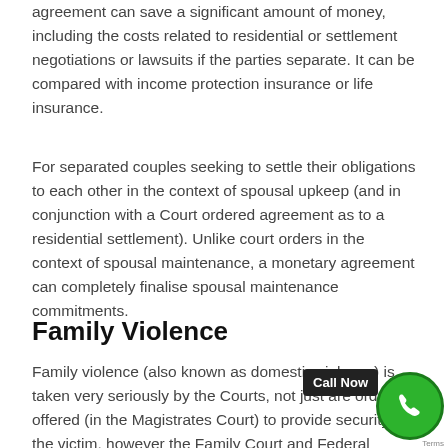agreement can save a significant amount of money, including the costs related to residential or settlement negotiations or lawsuits if the parties separate. It can be compared with income protection insurance or life insurance.
For separated couples seeking to settle their obligations to each other in the context of spousal upkeep (and in conjunction with a Court ordered agreement as to a residential settlement). Unlike court orders in the context of spousal maintenance, a monetary agreement can completely finalise spousal maintenance commitments.
Family Violence
Family violence (also known as domestic violence) is taken very seriously by the Courts, not just are orders offered (in the Magistrates Court) to provide security to the victim, however the Family Court and Federal Circuit Court take any allegations of domestic violence into factors to consider when identifying future parenting arrangements